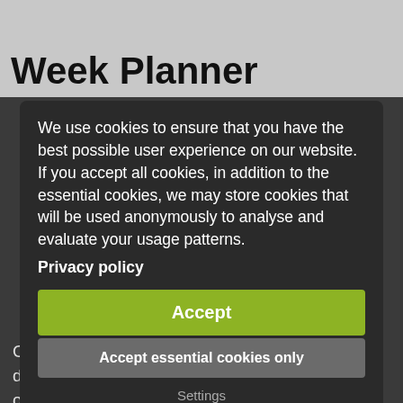Week Planner
We use cookies to ensure that you have the best possible user experience on our website. If you accept all cookies, in addition to the essential cookies, we may store cookies that will be used anonymously to analyse and evaluate your usage patterns.
Privacy policy
Accept
Accept essential cookies only
Settings
Our Week Planner allows you to plan your day in detail hour by hour, whilst also giving you a good overview of the week.